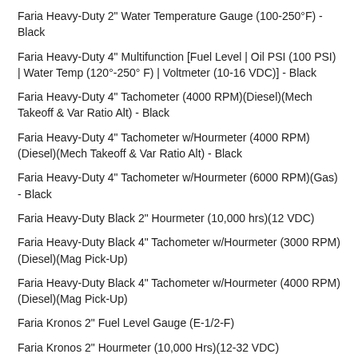Faria Heavy-Duty 2" Water Temperature Gauge (100-250°F) - Black
Faria Heavy-Duty 4" Multifunction [Fuel Level | Oil PSI (100 PSI) | Water Temp (120°-250° F) | Voltmeter (10-16 VDC)] - Black
Faria Heavy-Duty 4" Tachometer (4000 RPM)(Diesel)(Mech Takeoff & Var Ratio Alt) - Black
Faria Heavy-Duty 4" Tachometer w/Hourmeter (4000 RPM)(Diesel)(Mech Takeoff & Var Ratio Alt) - Black
Faria Heavy-Duty 4" Tachometer w/Hourmeter (6000 RPM)(Gas) - Black
Faria Heavy-Duty Black 2" Hourmeter (10,000 hrs)(12 VDC)
Faria Heavy-Duty Black 4" Tachometer w/Hourmeter (3000 RPM)(Diesel)(Mag Pick-Up)
Faria Heavy-Duty Black 4" Tachometer w/Hourmeter (4000 RPM)(Diesel)(Mag Pick-Up)
Faria Kronos 2" Fuel Level Gauge (E-1/2-F)
Faria Kronos 2" Hourmeter (10,000 Hrs)(12-32 VDC)
Faria Kronos 2" Oil Pressure Gauge - 80 PSI
Faria Kronos 2" Trim Gauge (Mercury / Mariner / Mercruiser / Volvo DP / Yamaha 2001 and newer)